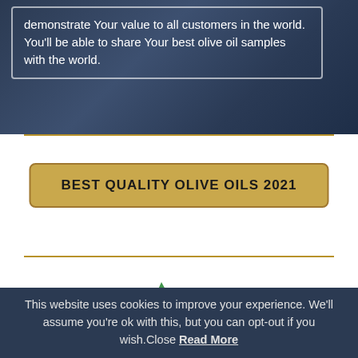demonstrate Your value to all customers in the world. You'll be able to share Your best olive oil samples with the world.
[Figure (illustration): Dark navy blue background with ocean/sky texture behind a white-bordered text box]
BEST QUALITY OLIVE OILS 2021
[Figure (logo): Partial logo visible — green and red shapes at bottom of white section]
This website uses cookies to improve your experience. We'll assume you're ok with this, but you can opt-out if you wish.Close Read More